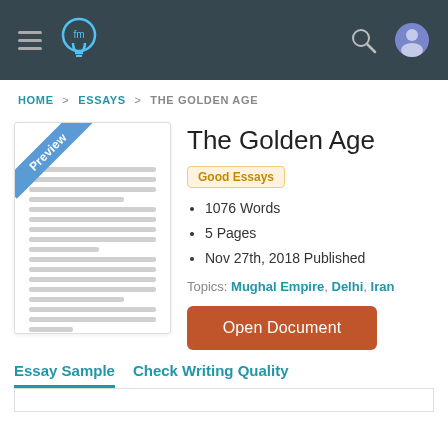[Figure (screenshot): Navigation bar with hamburger menu, lightbulb logo, search icon, and user profile icon on dark background]
HOME > ESSAYS > THE GOLDEN AGE
[Figure (illustration): Document preview card with blue 'Preview' banner in top-left corner and horizontal lines representing text]
The Golden Age
Good Essays
1076 Words
5 Pages
Nov 27th, 2018 Published
Topics: Mughal Empire, Delhi, Iran
Open Document
Essay Sample   Check Writing Quality